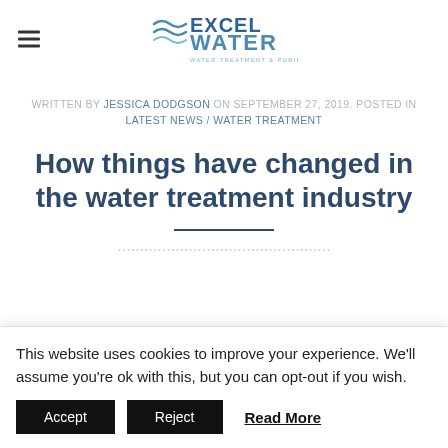EXCEL WATER — WATER TREATMENT & PURIFICATION
WRITTEN BY JESSICA DODGSON ON SEPTEMBER 27, 2019. POSTED IN LATEST NEWS / WATER TREATMENT
How things have changed in the water treatment industry
This website uses cookies to improve your experience. We'll assume you're ok with this, but you can opt-out if you wish.